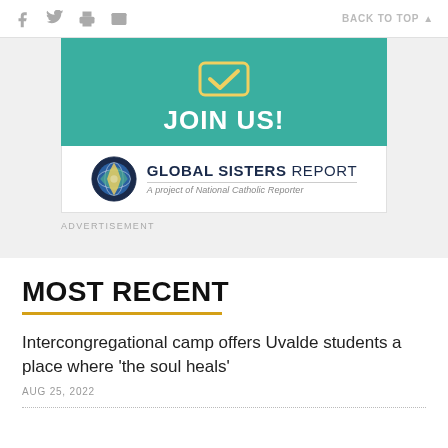f  (twitter)  (print)  (email)   BACK TO TOP ▲
[Figure (other): Advertisement banner: teal background with checkmark icon and 'JOIN US!' text, below it Global Sisters Report logo with tagline 'A project of National Catholic Reporter', and ADVERTISEMENT label below]
MOST RECENT
Intercongregational camp offers Uvalde students a place where 'the soul heals'
AUG 25, 2022